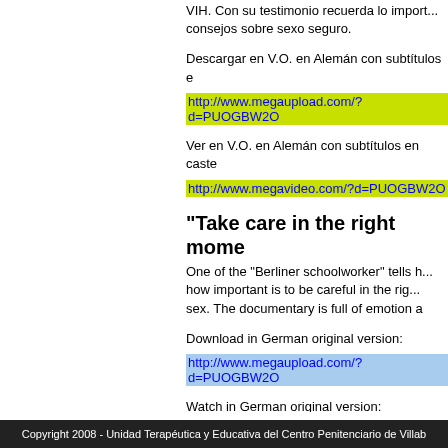VIH.  Con su testimonio recuerda lo import... consejos sobre  sexo seguro.
Descargar en V.O. en Alemán con subtítulos e
http://www.megaupload.com/?d=PUOGBW2O
Ver en V.O. en Alemán con subtítulos en caste
http://www.megavideo.com/?d=PUOGBW2O
"Take care in the right mome
One of the "Berliner schoolworker" tells h... how important  is to be careful in the  rig... sex. The documentary is full of emotion a
Download in German original version:
http://www.megaupload.com/?d=PUOGBW2O
Watch in German original version:
http://www.megavideo.com/?d=PUOGBW2O
Copyright 2008 - Unidad Terapéutica y Educativa del Centro Penitenciario de Villab